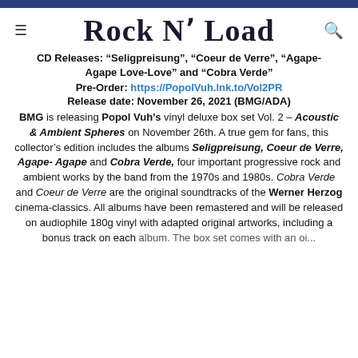Rock N' Load
CD Releases: “Seligpreisung”, “Coeur de Verre”, “Agape-Agape Love-Love” and “Cobra Verde”
Pre-Order: https://PopolVuh.lnk.to/Vol2PR
Release date: November 26, 2021 (BMG/ADA)
BMG is releasing Popol Vuh’s vinyl deluxe box set Vol. 2 – Acoustic & Ambient Spheres on November 26th. A true gem for fans, this collector’s edition includes the albums Seligpreisung, Coeur de Verre, Agape-Agape and Cobra Verde, four important progressive rock and ambient works by the band from the 1970s and 1980s. Cobra Verde and Coeur de Verre are the original soundtracks of the Werner Herzog cinema-classics. All albums have been remastered and will be released on audiophile 180g vinyl with adapted original artworks, including a bonus track on each album. The box set comes with an oi...